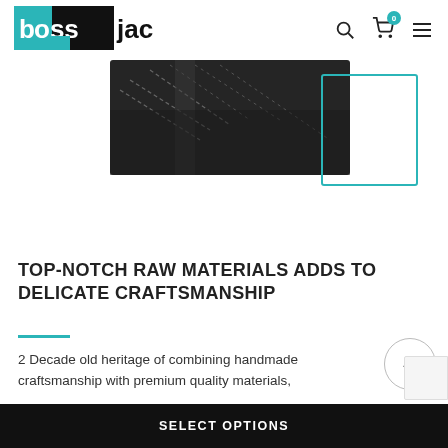[Figure (logo): bossjackets logo — teal and black rectangular logo with 'boss' in white on black background and 'jackets' in black text]
[Figure (photo): Close-up photo of dark black leather jacket showing stitching detail, with teal decorative corner bracket overlay]
TOP-NOTCH RAW MATERIALS ADDS TO DELICATE CRAFTSMANSHIP
2 Decade old heritage of combining handmade craftsmanship with premium quality materials,
[Figure (other): Back-to-top arrow button circle]
SELECT OPTIONS